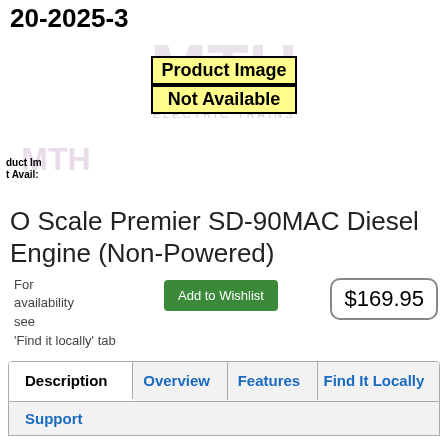20-2025-3
[Figure (illustration): Product Image Not Available placeholder with MTH Electric Trains logo watermark in background]
[Figure (illustration): Small cropped product image placeholder showing partial 'duct Im' and 't Avail' text with MTH logo]
O Scale Premier SD-90MAC Diesel Engine (Non-Powered)
For availability see 'Find it locally' tab
$169.95
| Description | Overview | Features | Find It Locally |
| --- | --- | --- | --- |
Support